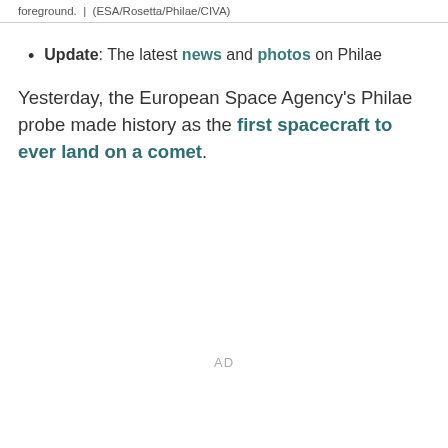foreground.  |  (ESA/Rosetta/Philae/CIVA)
Update: The latest news and photos on Philae
Yesterday, the European Space Agency's Philae probe made history as the first spacecraft to ever land on a comet.
AD